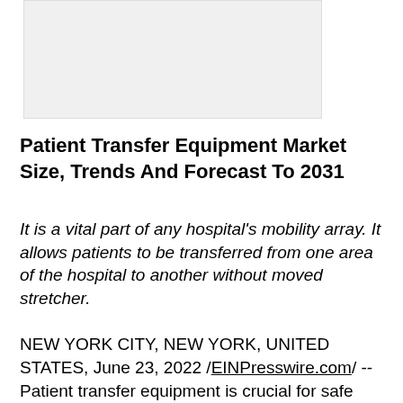[Figure (photo): Image placeholder for Patient Transfer Equipment Market report]
Patient Transfer Equipment Market Size, Trends And Forecast To 2031
It is a vital part of any hospital's mobility array. It allows patients to be transferred from one area of the hospital to another without moved stretcher.
NEW YORK CITY, NEW YORK, UNITED STATES, June 23, 2022 /EINPresswire.com/ -- Patient transfer equipment is crucial for safe and efficient patient care. It allows doctors, nurses, and other medical staff to quickly and easily move patients from one location to another. This equipment can include stretchers, wheelchairs, and even hospital beds. It is important to have the right equipment for the job, as improper use can lead to injuries or even death.